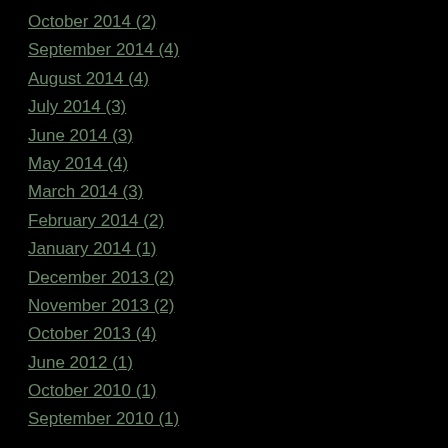October 2014 (2)
September 2014 (4)
August 2014 (4)
July 2014 (3)
June 2014 (3)
May 2014 (4)
March 2014 (3)
February 2014 (2)
January 2014 (1)
December 2013 (2)
November 2013 (2)
October 2013 (4)
June 2012 (1)
October 2010 (1)
September 2010 (1)